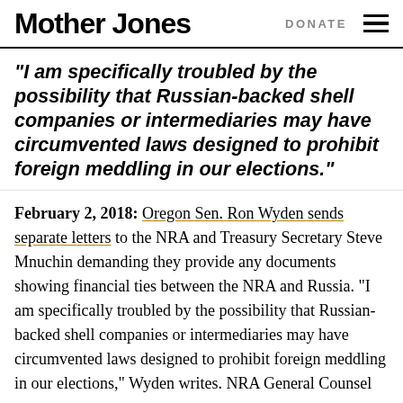Mother Jones | DONATE
“I am specifically troubled by the possibility that Russian-backed shell companies or intermediaries may have circumvented laws designed to prohibit foreign meddling in our elections.”
February 2, 2018: Oregon Sen. Ron Wyden sends separate letters to the NRA and Treasury Secretary Steve Mnuchin demanding they provide any documents showing financial ties between the NRA and Russia. “I am specifically troubled by the possibility that Russian-backed shell companies or intermediaries may have circumvented laws designed to prohibit foreign meddling in our elections,” Wyden writes. NRA General Counsel